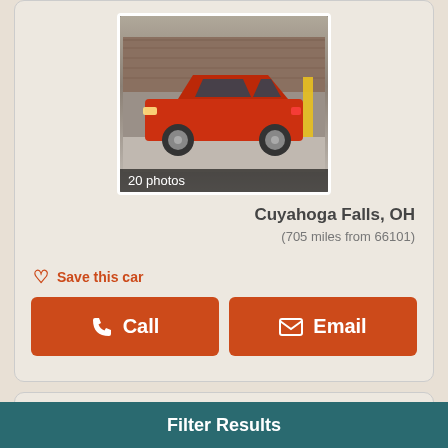[Figure (photo): Red SUV (Mercedes-Benz GLA) parked in a showroom with wood-paneled wall background, labeled '20 photos']
Cuyahoga Falls, OH
(705 miles from 66101)
Save this car
Call
Email
2014 BMW 328 i xDrive
Filter Results